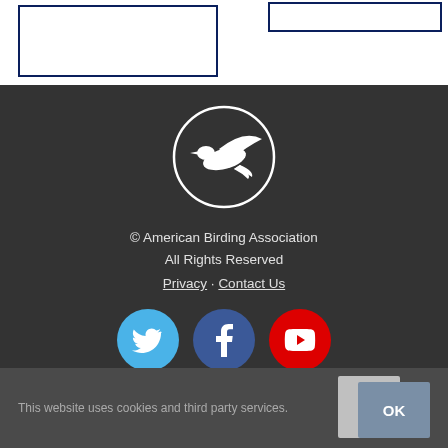[Figure (other): Two bordered rectangles at top of page — left box wide, right box narrow, both with dark navy border]
[Figure (logo): American Birding Association logo: white bird silhouette in flight inside a white circle outline, on dark background]
© American Birding Association
All Rights Reserved
Privacy · Contact Us
[Figure (other): Three circular social media icons: Twitter (blue bird), Facebook (blue f), YouTube (red play button)]
This website uses cookies and third party services.
[Figure (other): Scroll-to-top button (up caret on grey background) and OK button (blue-grey)]